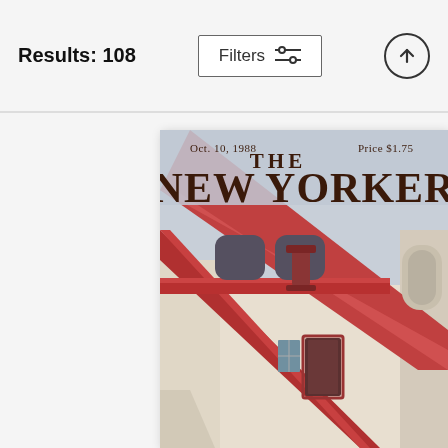Results: 108
Filters
[Figure (illustration): The New Yorker magazine cover dated Oct. 10, 1988, Price $1.75. Shows a building with red diagonal beams/girders against a gray sky, cream stucco walls, arched windows, a column, a small window and a dark doorway.]